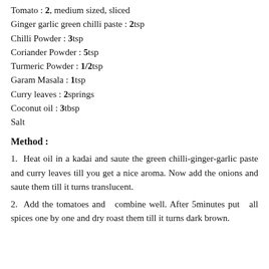Tomato : 2, medium sized, sliced
Ginger garlic green chilli paste : 2tsp
Chilli Powder : 3tsp
Coriander Powder : 5tsp
Turmeric Powder : 1/2tsp
Garam Masala : 1tsp
Curry leaves : 2springs
Coconut oil : 3tbsp
Salt
Method :
1.  Heat oil in a kadai and saute the green chilli-ginger-garlic paste and curry leaves till you get a nice aroma. Now add the onions and saute them till it turns translucent.
2.  Add the tomatoes and  combine well. After 5minutes put  all spices one by one and dry roast them till it turns dark brown.